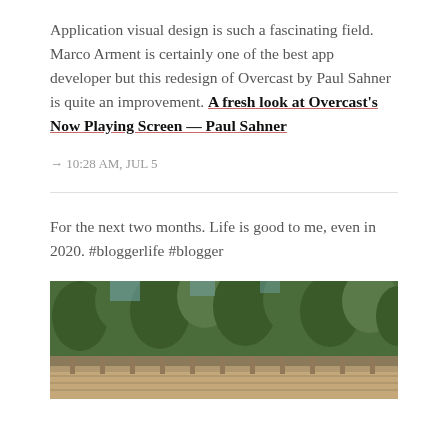Application visual design is such a fascinating field. Marco Arment is certainly one of the best app developer but this redesign of Overcast by Paul Sahner is quite an improvement. A fresh look at Overcast's Now Playing Screen — Paul Sahner
→ 10:28 AM, JUL 5
For the next two months. Life is good to me, even in 2020. #bloggerlife #blogger
[Figure (photo): Outdoor photo showing trees and a wooden deck/railing in the foreground, with a forested background]